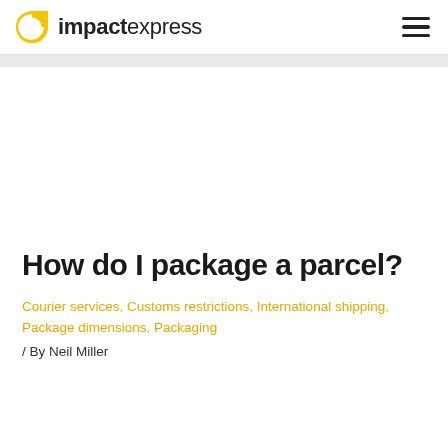impactexpress
[Figure (other): Blank white image placeholder area below the header gray band]
How do I package a parcel?
Courier services, Customs restrictions, International shipping, Package dimensions, Packaging
/ By Neil Miller